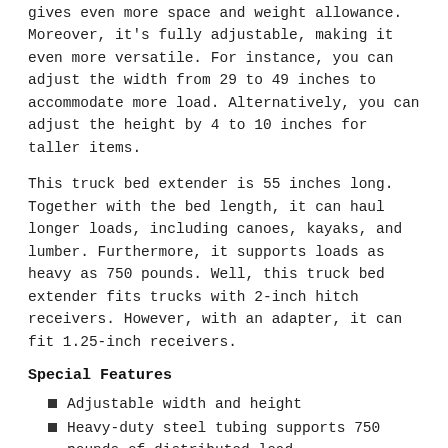gives even more space and weight allowance. Moreover, it's fully adjustable, making it even more versatile. For instance, you can adjust the width from 29 to 49 inches to accommodate more load. Alternatively, you can adjust the height by 4 to 10 inches for taller items.
This truck bed extender is 55 inches long. Together with the bed length, it can haul longer loads, including canoes, kayaks, and lumber. Furthermore, it supports loads as heavy as 750 pounds. Well, this truck bed extender fits trucks with 2-inch hitch receivers. However, with an adapter, it can fit 1.25-inch receivers.
Special Features
Adjustable width and height
Heavy-duty steel tubing supports 750 pounds of distributed load